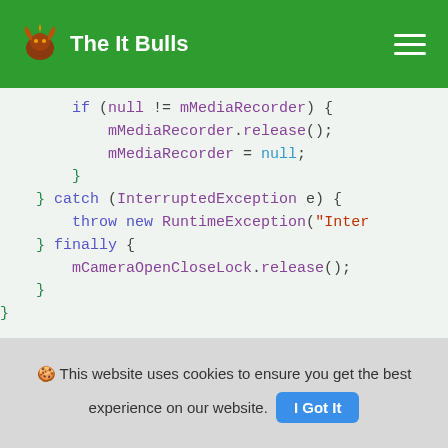The It Bulls
if (null != mMediaRecorder) {
    mMediaRecorder.release();
    mMediaRecorder = null;
}
} catch (InterruptedException e) {
    throw new RuntimeException("Inter
} finally {
    mCameraOpenCloseLock.release();
}
}

private static Size chooseVideoSize(Size[
    for (Size size : choices) {
🍪 This website uses cookies to ensure you get the best experience on our website.
I Got It